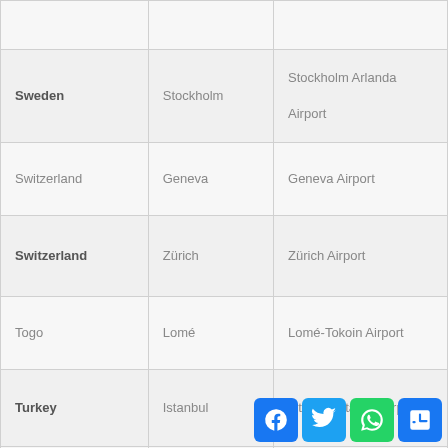| Country | City | Airport |
| --- | --- | --- |
|  |  |  |
| Sweden | Stockholm | Stockholm Arlanda Airport |
| Switzerland | Geneva | Geneva Airport |
| Switzerland | Zürich | Zürich Airport |
| Togo | Lomé | Lomé-Tokoin Airport |
| Turkey | Istanbul | Istanbul Atatürk Airport |
| Tunisia | Tunis | Tunis-Carthage International Airport |
|  |  |  |